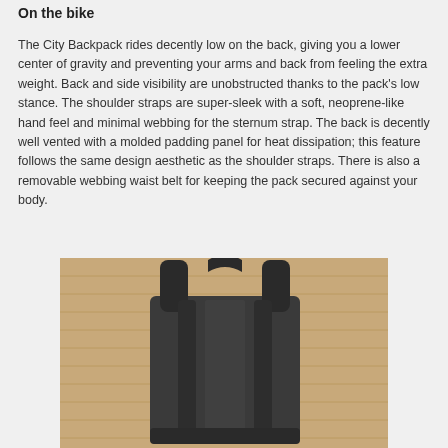On the bike
The City Backpack rides decently low on the back, giving you a lower center of gravity and preventing your arms and back from feeling the extra weight. Back and side visibility are unobstructed thanks to the pack's low stance. The shoulder straps are super-sleek with a soft, neoprene-like hand feel and minimal webbing for the sternum strap. The back is decently well vented with a molded padding panel for heat dissipation; this feature follows the same design aesthetic as the shoulder straps. There is also a removable webbing waist belt for keeping the pack secured against your body.
[Figure (photo): Rear view of a dark grey/black City Backpack laid flat on a wooden surface, showing shoulder straps and back panel structure.]